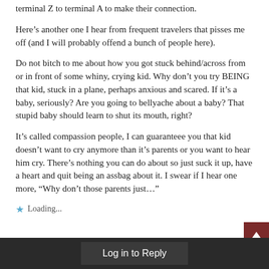terminal Z to terminal A to make their connection.
Here’s another one I hear from frequent travelers that pisses me off (and I will probably offend a bunch of people here).
Do not bitch to me about how you got stuck behind/across from or in front of some whiny, crying kid. Why don’t you try BEING that kid, stuck in a plane, perhaps anxious and scared. If it’s a baby, seriously? Are you going to bellyache about a baby? That stupid baby should learn to shut its mouth, right?
It’s called compassion people, I can guaranteee you that kid doesn’t want to cry anymore than it’s parents or you want to hear him cry. There’s nothing you can do about so just suck it up, have a heart and quit being an assbag about it. I swear if I hear one more, “Why don’t those parents just…”
★ Loading...
Log in to Reply